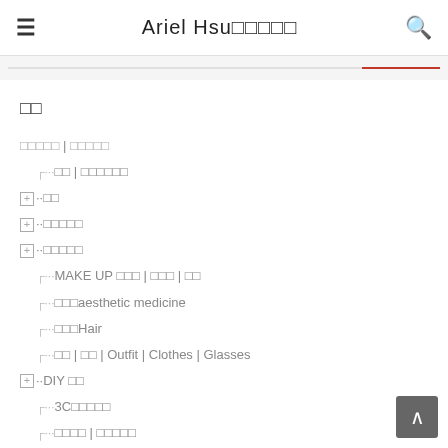Ariel Hsu□□□□□
□□
□□□□□ | □□□□□
···□□ | □□□□□□
⊞··□□
⊞··□□□□□
⊞··□□□□□
···MAKE UP □□□ | □□□ | □□
···□□□aesthetic medicine
···□□□Hair
···□□ | □□ | Outfit | Clothes | Glasses
⊞··DIY □□
···3C□□□□□
···□□□□ | □□□□□